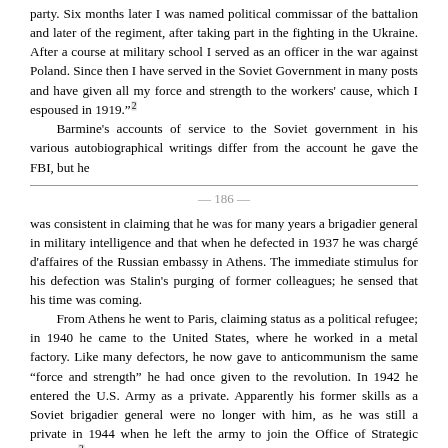party. Six months later I was named political commissar of the battalion and later of the regiment, after taking part in the fighting in the Ukraine. After a course at military school I served as an officer in the war against Poland. Since then I have served in the Soviet Government in many posts and have given all my force and strength to the workers' cause, which I espoused in 1919."[2]
Barmine's accounts of service to the Soviet government in his various autobiographical writings differ from the account he gave the FBI, but he
— 186 —
was consistent in claiming that he was for many years a brigadier general in military intelligence and that when he defected in 1937 he was chargé d'affaires of the Russian embassy in Athens. The immediate stimulus for his defection was Stalin's purging of former colleagues; he sensed that his time was coming.
From Athens he went to Paris, claiming status as a political refugee; in 1940 he came to the United States, where he worked in a metal factory. Like many defectors, he now gave to anticommunism the same "force and strength" he had once given to the revolution. In 1942 he entered the U.S. Army as a private. Apparently his former skills as a Soviet brigadier general were no longer with him, as he was still a private in 1944 when he left the army to join the Office of Strategic Services.[3]
OSS seemed to appreciate his talents even less. Barmine does not discuss his work with OSS, but admits he was fired. He says the stated reason was repeated absence from the job because of illness, but that the real reason was his extracurricular activities.[4] By 1944 he had made contact with various publishers and was busily turning out exposés of Soviet perfidy and subversion. The publication to